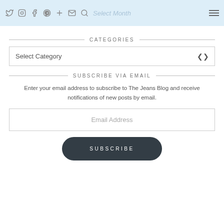Select Month — social icons header bar
CATEGORIES
Select Category
SUBSCRIBE VIA EMAIL
Enter your email address to subscribe to The Jeans Blog and receive notifications of new posts by email.
Email Address
SUBSCRIBE